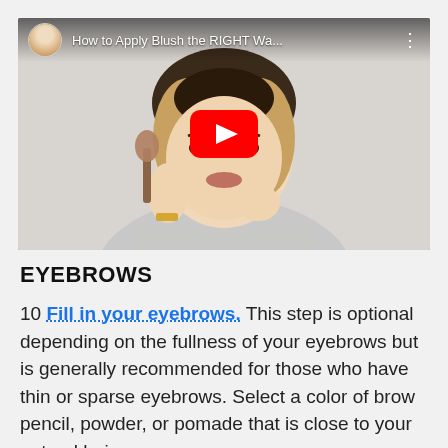[Figure (screenshot): YouTube video thumbnail showing a woman applying blush with a brush, with a red YouTube play button overlay. Video title: 'How to Apply Blush the RIGHT Wa...' with channel avatar in top left corner.]
EYEBROWS
10 Fill in your eyebrows. This step is optional depending on the fullness of your eyebrows but is generally recommended for those who have thin or sparse eyebrows. Select a color of brow pencil, powder, or pomade that is close to your natural hair color. Start by outlining the edges of your eyebrows